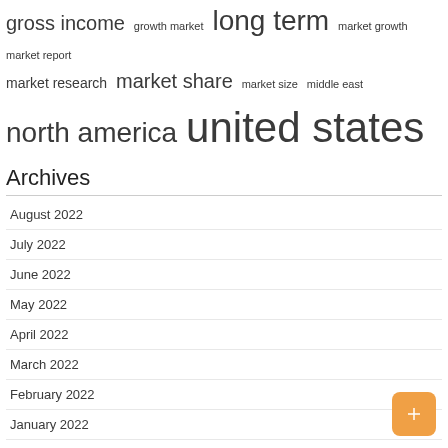gross income  growth market  long term  market growth  market report  market research  market share  market size  middle east  north america  united states
Archives
August 2022
July 2022
June 2022
May 2022
April 2022
March 2022
February 2022
January 2022
December 2021
November 2021